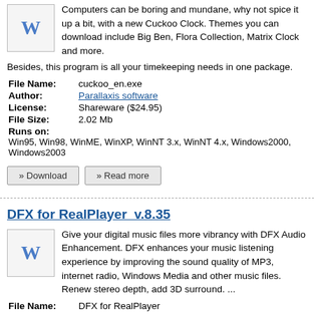Computers can be boring and mundane, why not spice it up a bit, with a new Cuckoo Clock. Themes you can download include Big Ben, Flora Collection, Matrix Clock and more. Besides, this program is all your timekeeping needs in one package.
File Name: cuckoo_en.exe
Author: Parallaxis software
License: Shareware ($24.95)
File Size: 2.02 Mb
Runs on: Win95, Win98, WinME, WinXP, WinNT 3.x, WinNT 4.x, Windows2000, Windows2003
DFX for RealPlayer  v.8.35
Give your digital music files more vibrancy with DFX Audio Enhancement. DFX enhances your music listening experience by improving the sound quality of MP3, internet radio, Windows Media and other music files. Renew stereo depth, add 3D surround. ...
File Name: DFX for RealPlayer
Author: FXsound
License: Shareware ($19.99)
File Size: 1.56 Mb